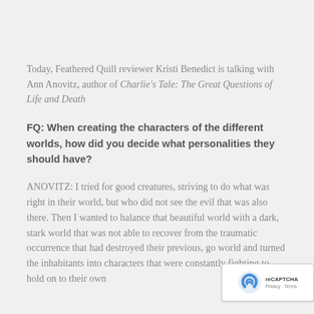Today, Feathered Quill reviewer Kristi Benedict is talking with Ann Anovitz, author of Charlie's Tale: The Great Questions of Life and Death
FQ: When creating the characters of the different worlds, how did you decide what personalities they should have?
ANOVITZ: I tried for good creatures, striving to do what was right in their world, but who did not see the evil that was also there. Then I wanted to balance that beautiful world with a dark, stark world that was not able to recover from the traumatic occurrence that had destroyed their previous, go world and turned the inhabitants into characters that were constantly fighting to hold on to their own